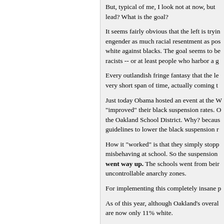But, typical of me, I look not at now, but lead? What is the goal?
It seems fairly obvious that the left is trying to engender as much racial resentment as possible, white against blacks. The goal seems to be racists -- or at least people who harbor a g
Every outlandish fringe fantasy that the le very short span of time, actually coming t
Just today Obama hosted an event at the W "improved" their black suspension rates. C the Oakland School District. Why? becaus guidelines to lower the black suspension r
How it "worked" is that they simply stopp misbehaving at school. So the suspension went way up. The schools went from bei uncontrollable anarchy zones.
For implementing this completely insane p
As of this year, although Oakland's overal are now only 11% white.
That means that TWO-THIRDS of Oaklan liberal or progressive -- keep their kids ou away from black kids's violence, threats, t environment, and relentless "white privile